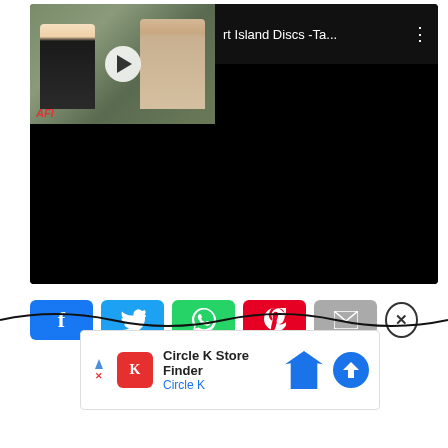[Figure (screenshot): Screenshot of a video player interface showing a thumbnail of an old film with two people and AFI logo, overlaid on a dark/black background video player. The title bar shows 'rt Island Discs -Ta...' with a three-dot menu icon. Below the video area are social sharing buttons: Facebook (blue), Twitter (blue), WhatsApp (green), Pinterest (red), Email (gray), and a close (X) circle button. At the bottom is an advertisement for 'Circle K Store Finder' by Circle K.]